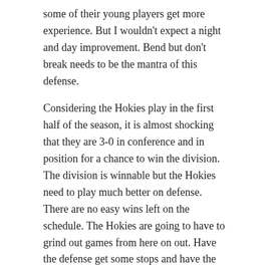some of their young players get more experience. But I wouldn't expect a night and day improvement. Bend but don't break needs to be the mantra of this defense.
Considering the Hokies play in the first half of the season, it is almost shocking that they are 3-0 in conference and in position for a chance to win the division. The division is winnable but the Hokies need to play much better on defense. There are no easy wins left on the schedule. The Hokies are going to have to grind out games from here on out. Have the defense get some stops and have the offense outscore the other team's offense.
Share this:
Twitter  Facebook
Like
Be the first to like this.